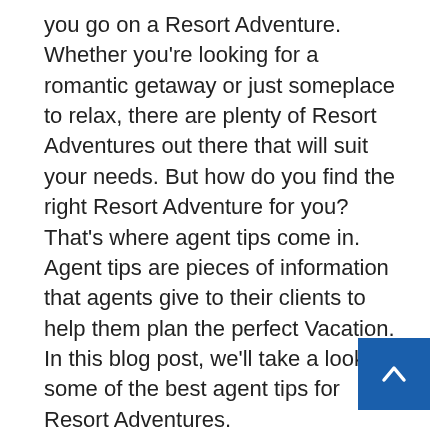you go on a Resort Adventure. Whether you're looking for a romantic getaway or just someplace to relax, there are plenty of Resort Adventures out there that will suit your needs. But how do you find the right Resort Adventure for you? That's where agent tips come in. Agent tips are pieces of information that agents give to their clients to help them plan the perfect Vacation. In this blog post, we'll take a look at some of the best agent tips for Resort Adventures.
americandailyjournal.com
americandailyjournal.com
americandailyjournal.com
americandailyjournal.com
americandailyjournal.com
americandailyjournal.com
americandailyjournal.com